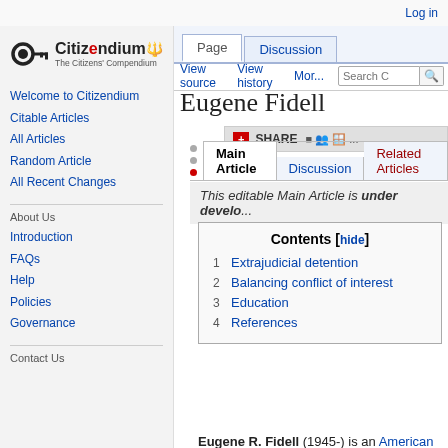Log in
[Figure (logo): Citizendium logo — key icon with 'Citizendium' wordmark and 'The Citizens' Compendium' subtitle]
Page | Discussion | View source | View history | Mor... | Search C
Eugene Fidell
SHARE
| Main Article | Discussion | Related Articles |
| --- | --- | --- |
This editable Main Article is under develo...
Contents [hide]
1  Extrajudicial detention
2  Balancing conflict of interest
3  Education
4  References
Welcome to Citizendium
Citable Articles
All Articles
Random Article
All Recent Changes
About Us
Introduction
FAQs
Help
Policies
Governance
Contact Us
Eugene R. Fidell (1945-) is an American